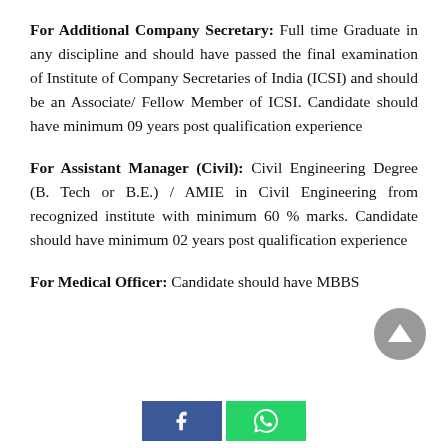For Additional Company Secretary: Full time Graduate in any discipline and should have passed the final examination of Institute of Company Secretaries of India (ICSI) and should be an Associate/ Fellow Member of ICSI. Candidate should have minimum 09 years post qualification experience
For Assistant Manager (Civil): Civil Engineering Degree (B. Tech or B.E.) / AMIE in Civil Engineering from recognized institute with minimum 60 % marks. Candidate should have minimum 02 years post qualification experience
For Medical Officer: Candidate should have MBBS